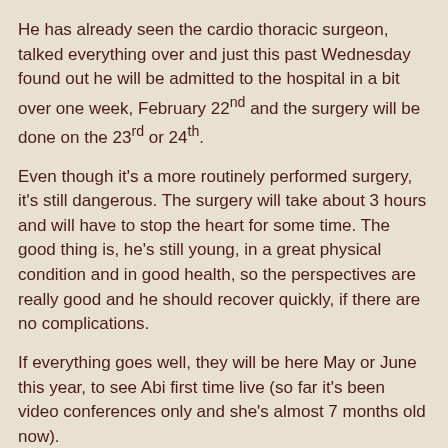He has already seen the cardio thoracic surgeon, talked everything over and just this past Wednesday found out he will be admitted to the hospital in a bit over one week, February 22nd and the surgery will be done on the 23rd or 24th.
Even though it's a more routinely performed surgery, it's still dangerous. The surgery will take about 3 hours and will have to stop the heart for some time. The good thing is, he's still young, in a great physical condition and in good health, so the perspectives are really good and he should recover quickly, if there are no complications.
If everything goes well, they will be here May or June this year, to see Abi first time live (so far it's been video conferences only and she's almost 7 months old now).
So if there is still some room in your prayer books, on your prayer lists, whatever you have, I will appreciate if you squeeze him in and keep him in your prayers.
Art